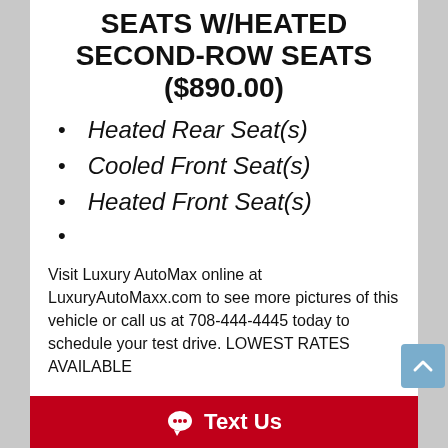SEATS W/HEATED SECOND-ROW SEATS ($890.00)
Heated Rear Seat(s)
Cooled Front Seat(s)
Heated Front Seat(s)
Visit Luxury AutoMax online at LuxuryAutoMaxx.com to see more pictures of this vehicle or call us at 708-444-4445 today to schedule your test drive. LOWEST RATES AVAILABLE